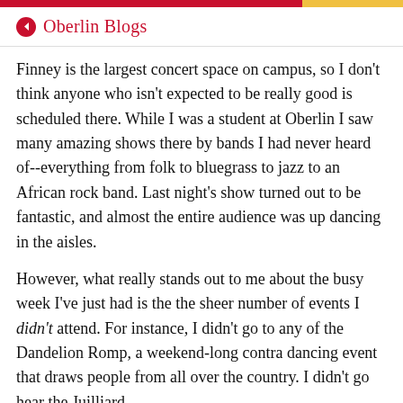Oberlin Blogs
Finney is the largest concert space on campus, so I don't think anyone who isn't expected to be really good is scheduled there. While I was a student at Oberlin I saw many amazing shows there by bands I had never heard of--everything from folk to bluegrass to jazz to an African rock band. Last night's show turned out to be fantastic, and almost the entire audience was up dancing in the aisles.
However, what really stands out to me about the busy week I've just had is the the sheer number of events I didn't attend. For instance, I didn't go to any of the Dandelion Romp, a weekend-long contra dancing event that draws people from all over the country. I didn't go hear the Juilliard